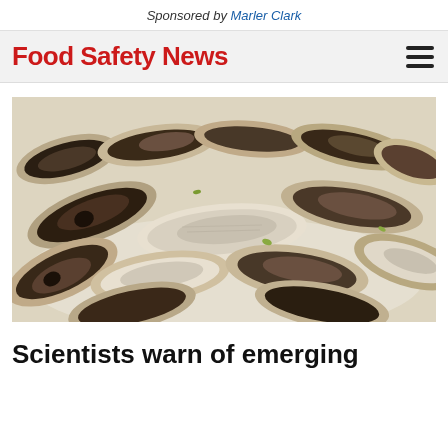Sponsored by Marler Clark
Food Safety News
[Figure (photo): A pile of fresh oysters in their shells, displayed on a white surface, photographed from above at a slight angle. The oysters are open and closed, showing their rough dark and pearlescent interiors.]
Scientists warn of emerging